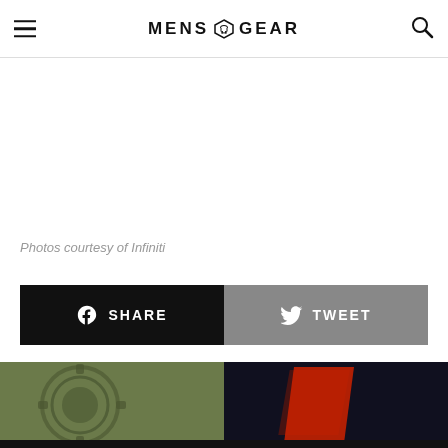MENS GEAR
Photos courtesy of Infiniti
SHARE
TWEET
[Figure (photo): Bottom strip showing two partial images side by side: left side shows a close-up of a mechanical gear/wheel with olive-green tones, right side shows a dark image with a red accent element]